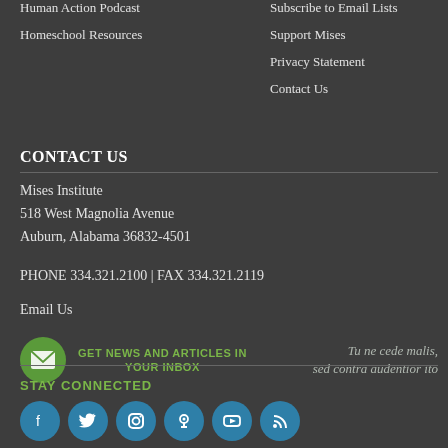Human Action Podcast
Homeschool Resources
Subscribe to Email Lists
Support Mises
Privacy Statement
Contact Us
CONTACT US
Mises Institute
518 West Magnolia Avenue
Auburn, Alabama 36832-4501
PHONE 334.321.2100 | FAX 334.321.2119
Email Us
GET NEWS AND ARTICLES IN YOUR INBOX
Tu ne cede malis, sed contra audentior ito
STAY CONNECTED